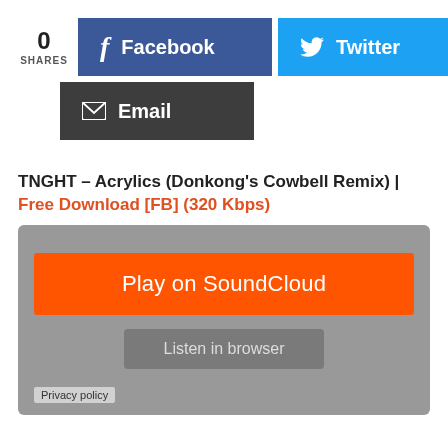0 SHARES
[Figure (screenshot): Facebook share button (blue) and Twitter share button (cyan)]
[Figure (screenshot): Email share button (dark grey)]
TNGHT – Acrylics (Donkong's Cowbell Remix) | Free Download [FB] (320 Kbps)
[Figure (screenshot): SoundCloud embed player with 'Play on SoundCloud' orange button and 'Listen in browser' grey button and Privacy policy link]